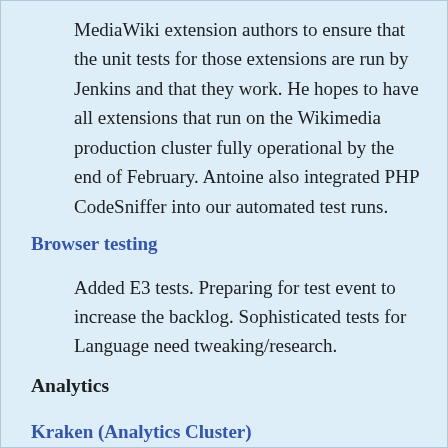MediaWiki extension authors to ensure that the unit tests for those extensions are run by Jenkins and that they work. He hopes to have all extensions that run on the Wikimedia production cluster fully operational by the end of February. Antoine also integrated PHP CodeSniffer into our automated test runs.
Browser testing
Added E3 tests. Preparing for test event to increase the backlog. Sophisticated tests for Language need tweaking/research.
Analytics
Kraken (Analytics Cluster)